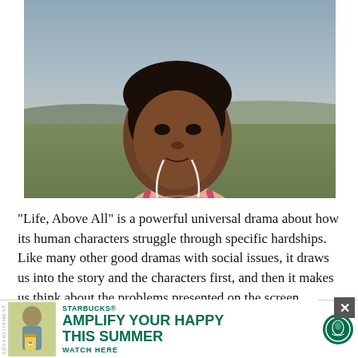[Figure (photo): A young Black woman with earbuds/headphones around her neck wearing a pink spaghetti-strap top and a red/pink backpack, standing outdoors in a field with a muted sky behind her. She has a serious, pensive expression.]
"Life, Above All" is a powerful universal drama about how its human characters struggle through specific hardships. Like many other good dramas with social issues, it draws us into the story and the characters first, and then it makes us think about the problems presented on the screen afterward. Its last scene is
[Figure (advertisement): Starbucks advertisement banner reading 'AMPLIFY YOUR HAPPY THIS SUMMER' with a Starbucks logo and 'WATCH HERE' call to action. Features a person holding a yellow Starbucks drink. Has a close (X) button in the top right corner.]